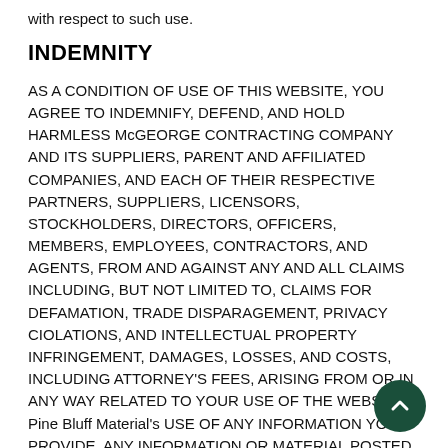with respect to such use.
INDEMNITY
AS A CONDITION OF USE OF THIS WEBSITE, YOU AGREE TO INDEMNIFY, DEFEND, AND HOLD HARMLESS McGEORGE CONTRACTING COMPANY AND ITS SUPPLIERS, PARENT AND AFFILIATED COMPANIES, AND EACH OF THEIR RESPECTIVE PARTNERS, SUPPLIERS, LICENSORS, STOCKHOLDERS, DIRECTORS, OFFICERS, MEMBERS, EMPLOYEES, CONTRACTORS, AND AGENTS, FROM AND AGAINST ANY AND ALL CLAIMS INCLUDING, BUT NOT LIMITED TO, CLAIMS FOR DEFAMATION, TRADE DISPARAGEMENT, PRIVACY CIOLATIONS, AND INTELLECTUAL PROPERTY INFRINGEMENT, DAMAGES, LOSSES, AND COSTS, INCLUDING ATTORNEY'S FEES, ARISING FROM OR IN ANY WAY RELATED TO YOUR USE OF THE WEBSITE, Pine Bluff Material's USE OF ANY INFORMATION YOU PROVIDE, ANY INFORMATION OR MATERIAL POSTED OR TRANSMITTED BY YOU ON OR